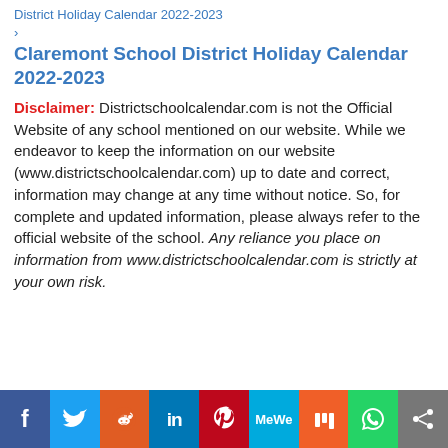District Holiday Calendar 2022-2023 > Claremont School District Holiday Calendar 2022-2023
Disclaimer: Districtschoolcalendar.com is not the Official Website of any school mentioned on our website. While we endeavor to keep the information on our website (www.districtschoolcalendar.com) up to date and correct, information may change at any time without notice. So, for complete and updated information, please always refer to the official website of the school. Any reliance you place on information from www.districtschoolcalendar.com is strictly at your own risk.
[Figure (infographic): Social media sharing buttons bar: Facebook (blue), Twitter (light blue), Reddit (orange), LinkedIn (dark blue), Pinterest (red), MeWe (teal), Mix (orange), WhatsApp (green), Share (grey)]